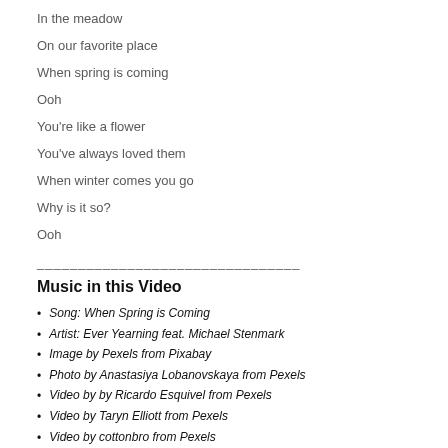In the meadow
On our favorite place
When spring is coming
Ooh
You're like a flower
You've always loved them
When winter comes you go
Why is it so?
Ooh
________________________________
Music in this Video
Song: When Spring is Coming
Artist: Ever Yearning feat. Michael Stenmark
Image by Pexels from Pixabay
Photo by Anastasiya Lobanovskaya from Pexels
Video by by Ricardo Esquivel from Pexels
Video by Taryn Elliott from Pexels
Video by cottonbro from Pexels
Video by by Vlada Karpovich from Pexels
Video by Nikuni Patel from Pexels